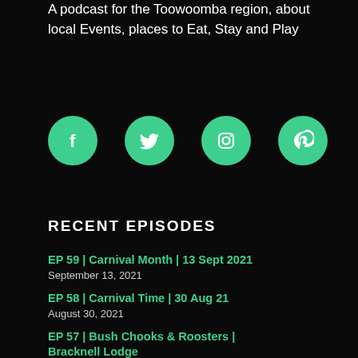A podcast for the Toowoomba region, about local Events, places to Eat, Stay and Play
[Figure (infographic): Four circular green social media icons in a row: Facebook, Twitter, Instagram, Pinterest]
RECENT EPISODES
EP 59 | Carnival Month | 13 Sept 2021
September 13, 2021
EP 58 | Carnival Time | 30 Aug 21
August 30, 2021
EP 57 | Bush Chooks & Roosters | Bracknell Lodge